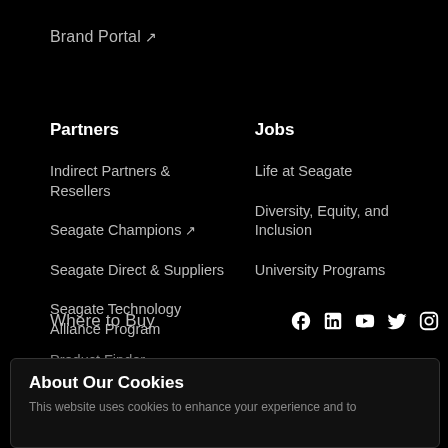Brand Portal ↗
Partners
Indirect Partners & Resellers
Seagate Champions ↗
Seagate Direct & Suppliers
Seagate Technology Alliance Program
Jobs
Life at Seagate
Diversity, Equity, and Inclusion
University Programs
Where to Buy
[Figure (infographic): Social media icons: Facebook, LinkedIn, YouTube, Twitter, Instagram]
Product Finder
About Our Cookies
This website uses cookies to enhance your experience and to